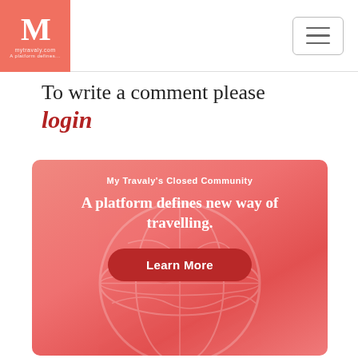[Figure (logo): My Travaly logo: salmon/coral square with stylized M letter and small text below]
[Figure (other): Hamburger menu button (three horizontal lines) in a rounded rectangle border]
To write a comment please login
[Figure (infographic): Coral/salmon banner with globe image in background. Text: My Travaly's Closed Community. A platform defines new way of travelling. Learn More button.]